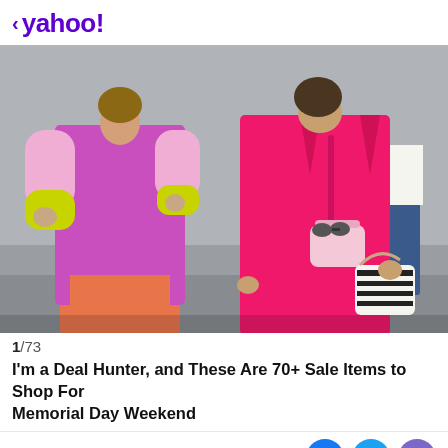< yahoo!
[Figure (photo): Two women walking in bright colorful outfits on a street. Left woman wears a chunky knit cardigan with pink and yellow-green sleeves over an orange/coral dress. Right woman wears a hot pink blazer suit and carries a small pink bag and zebra-print bag.]
1/73
I'm a Deal Hunter, and These Are 70+ Sale Items to Shop For Memorial Day Weekend
View comments